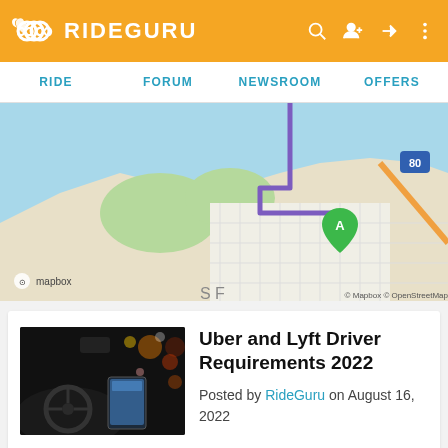RIDEGURU
RIDE   FORUM   NEWSROOM   OFFERS
[Figure (map): Mapbox/OpenStreetMap showing a route in San Francisco with a purple path and a green pin labeled A. Attribution: © Mapbox © OpenStreetMap]
[Figure (photo): Dark interior of a car at night showing a phone mounted on the dashboard with bright city lights in the background]
Uber and Lyft Driver Requirements 2022
Posted by RideGuru on August 16, 2022
Advertising is coming to Lyft